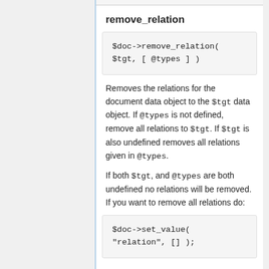remove_relation
Removes the relations for the document data object to the $tgt data object. If @types is not defined, remove all relations to $tgt. If $tgt is also undefined removes all relations given in @types.
If both $tgt, and @types are both undefined no relations will be removed. If you want to remove all relations do: